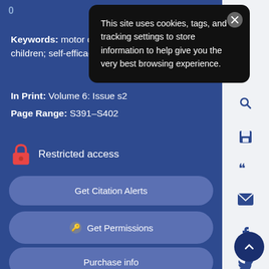[Figure (screenshot): Cookie consent popup overlay with dark background reading 'This site uses cookies, tags, and tracking settings to store information to help give you the very best browsing experience.' with a close X button]
Keywords: motor development; pre-school children; self-efficacy
In Print: Volume 6: Issue s2
Page Range: S391–S402
Restricted access
Get Citation Alerts
Get Permissions
Purchase info